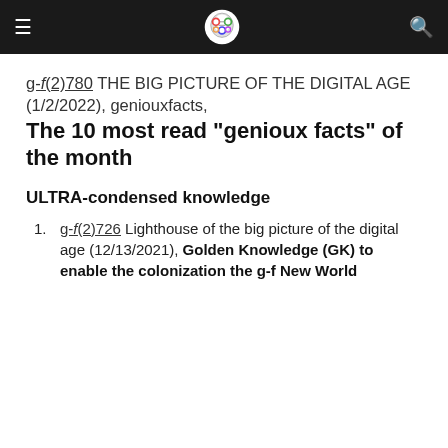[navigation bar with hamburger menu, brain logo, and search icon]
g-f(2)780 THE BIG PICTURE OF THE DIGITAL AGE (1/2/2022), geniouxfacts, The 10 most read "genioux facts" of the month
ULTRA-condensed knowledge
g-f(2)726 Lighthouse of the big picture of the digital age (12/13/2021), Golden Knowledge (GK) to enable the colonization the g-f New World